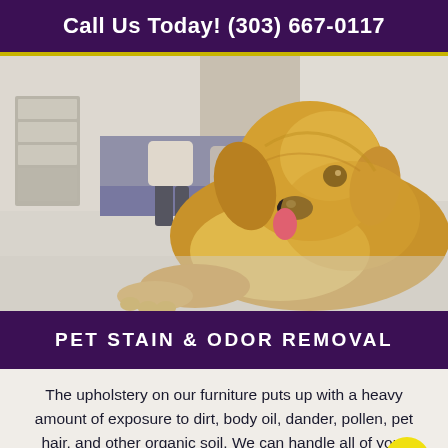Call Us Today! (303) 667-0117
[Figure (photo): Golden retriever dog lying on a carpet inside a home, with a family sitting on a sofa in the background]
PET STAIN & ODOR REMOVAL
The upholstery on our furniture puts up with a heavy amount of exposure to dirt, body oil, dander, pollen, pet hair, and other organic soil. We can handle all of your fabric cleaning needs.